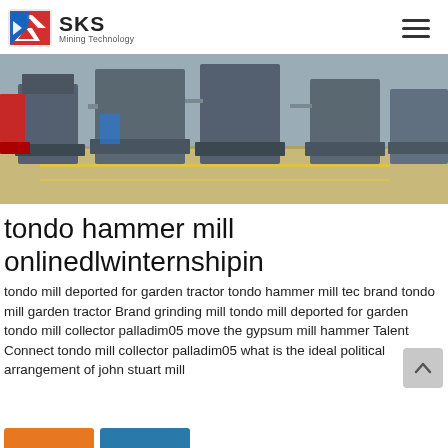SKS Mining Technology
[Figure (photo): Industrial hammer mills / grinding machines on a factory floor, grey steel equipment on yellow-marked concrete]
tondo hammer mill onlinedlwinternshipin
tondo mill deported for garden tractor tondo hammer mill tec brand tondo mill garden tractor Brand grinding mill tondo mill deported for garden tondo mill collector palladim05 move the gypsum mill hammer Talent Connect tondo mill collector palladim05 what is the ideal political arrangement of john stuart mill